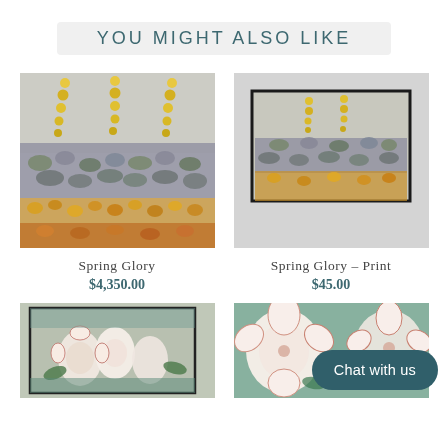YOU MIGHT ALSO LIKE
[Figure (illustration): Abstract painting 'Spring Glory' - colorful floral/garden scene with yellow dots hanging from top, gray and green foliage in middle, orange and yellow flowers at bottom]
[Figure (illustration): Print version of 'Spring Glory' painting in a dark frame, same abstract garden scene]
Spring Glory
$4,350.00
Spring Glory – Print
$45.00
[Figure (illustration): Abstract painting of white/pink flowers with green leaves and stems in a dark frame]
[Figure (illustration): Close-up abstract painting of large white/pink flowers with teal/green background]